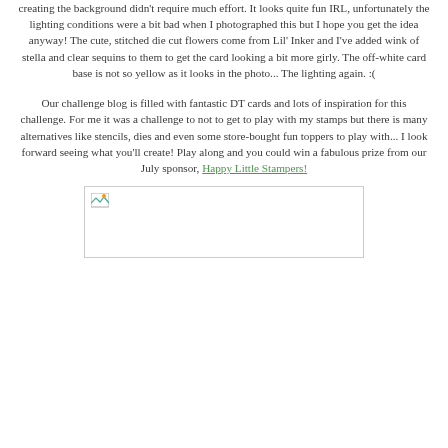creating the background didn't require much effort. It looks quite fun IRL, unfortunately the lighting conditions were a bit bad when I photographed this but I hope you get the idea anyway! The cute, stitched die cut flowers come from Lil' Inker and I've added wink of stella and clear sequins to them to get the card looking a bit more girly. The off-white card base is not so yellow as it looks in the photo... The lighting again. :(
Our challenge blog is filled with fantastic DT cards and lots of inspiration for this challenge. For me it was a challenge to not to get to play with my stamps but there is many alternatives like stencils, dies and even some store-bought fun toppers to play with... I look forward seeing what you'll create! Play along and you could win a fabulous prize from our July sponsor, Happy Little Stampers!
[Figure (photo): A broken/missing image placeholder with small landscape icon in top-left corner]